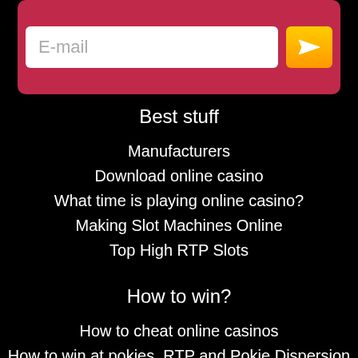[Figure (other): Email input field with orange send button inside a red/pink rounded card]
Best stuff
Manufacturers
Download online casino
What time is playing online casino?
Making Slot Machines Online
Top High RTP Slots
How to win?
How to cheat online casinos
How to win at pokies. RTP and Pokie Dispersion
How to hack pokies | Errors, schemes
How to choose a pokie in a casino | Beginner and Pro
10 Best NetEnt 2020 Pokie Machines
Top 5 Pokie Machines Push Gaming 2020